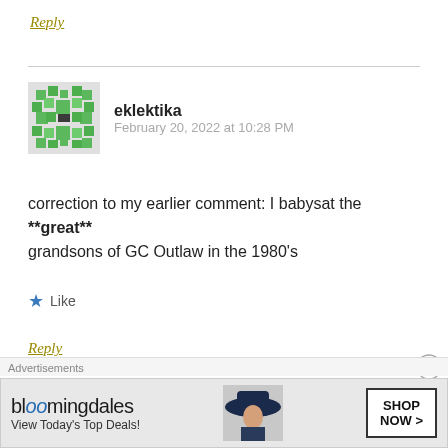Reply
eklektika
February 20, 2022 at 10:28 PM
correction to my earlier comment: I babysat the **great** grandsons of GC Outlaw in the 1980's
Like
Reply
[Figure (other): Bloomingdale's advertisement banner: 'View Today's Top Deals!' with SHOP NOW button and woman in hat photo]